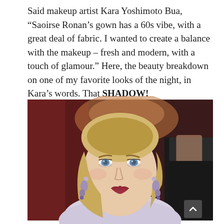Said makeup artist Kara Yoshimoto Bua, “Saoirse Ronan’s gown has a 60s vibe, with a great deal of fabric. I wanted to create a balance with the makeup – fresh and modern, with a touch of glamour.” Here, the beauty breakdown on one of my favorite looks of the night, in Kara’s words. That SHADOW!
[Figure (photo): Close-up photo of Saoirse Ronan with blonde hair, blue eyes, and red lips, wearing drop earrings, on a red carpet with dark red background. A man in a black suit is partially visible in the background right.]